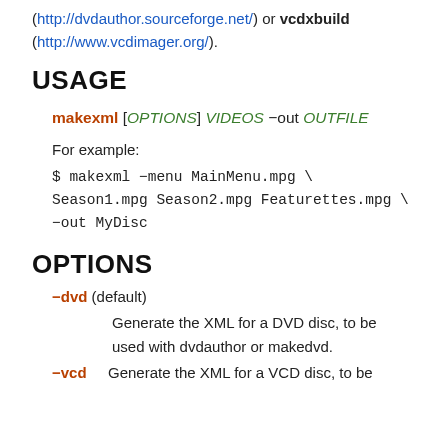(http://dvdauthor.sourceforge.net/) or vcdxbuild (http://www.vcdimager.org/).
USAGE
For example:
$ makexml -menu MainMenu.mpg \
Season1.mpg Season2.mpg Featurettes.mpg \
-out MyDisc
OPTIONS
-dvd (default)
Generate the XML for a DVD disc, to be used with dvdauthor or makedvd.
-vcd    Generate the XML for a VCD disc, to be